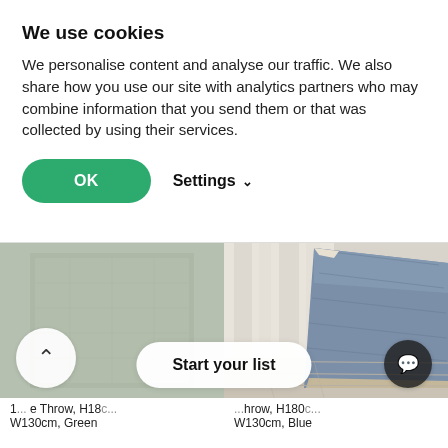We use cookies
We personalise content and analyse our traffic. We also share how you use our site with analytics partners who may combine information that you send them or that was collected by using their services.
OK   Settings ∨
[Figure (photo): Two product images side by side: left shows a green fabric throw, right shows a blue/grey quilted throw draped in a bedroom setting]
1... e Throw, H18c...
W130cm, Green
...hrow, H180c...
W130cm, Blue
Start your list